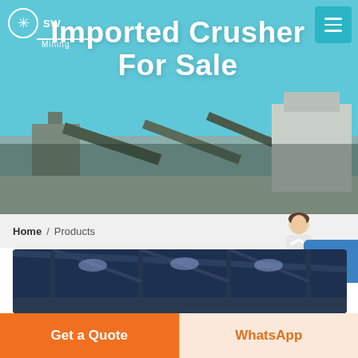[Figure (photo): Mining/crushing plant facility with conveyor belts against a blue sky, used as hero banner background]
Imported Crusher For Sale
Home / Products
Different Machines To Meet All Need
[Figure (photo): Interior of industrial factory/warehouse with blue metal roof structure and lighting]
Get a Quote
WhatsApp